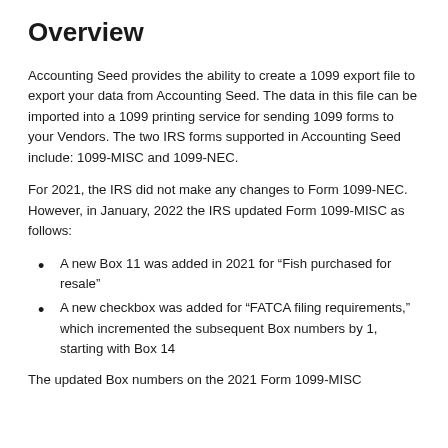Overview
Accounting Seed provides the ability to create a 1099 export file to export your data from Accounting Seed. The data in this file can be imported into a 1099 printing service for sending 1099 forms to your Vendors. The two IRS forms supported in Accounting Seed include: 1099-MISC and 1099-NEC.
For 2021, the IRS did not make any changes to Form 1099-NEC. However, in January, 2022 the IRS updated Form 1099-MISC as follows:
A new Box 11 was added in 2021 for “Fish purchased for resale”
A new checkbox was added for “FATCA filing requirements,” which incremented the subsequent Box numbers by 1, starting with Box 14
The updated Box numbers on the 2021 Form 1099-MISC